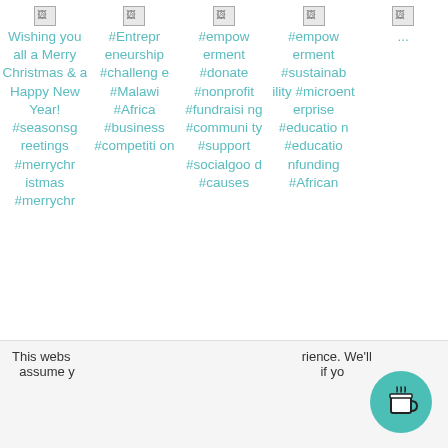[Figure (screenshot): Grid of 5 social media post previews with broken image icons and hashtag text in teal color. Column 1: Wishing you all a Merry Christmas & a Happy New Year! #seasonsgreetings #merrychristmas #merrychristmas. Column 2: #Entrepreneurship #challenge #Malawi #Africa #business #competition. Column 3: #empowerment #donate #nonprofit #fundraising #community #support #socialgood #causes. Column 4: #empowerment #sustainability #microenterprise #education #educationfunding #African. Column 5: (image icon only, partially visible)]
This webs... rience. We'll assume y... if yo...
Thank you for visiting. You can now buy us a coffee!